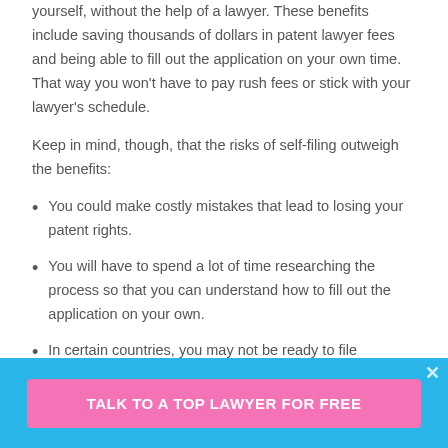yourself, without the help of a lawyer. These benefits include saving thousands of dollars in patent lawyer fees and being able to fill out the application on your own time. That way you won't have to pay rush fees or stick with your lawyer's schedule.
Keep in mind, though, that the risks of self-filing outweigh the benefits:
You could make costly mistakes that lead to losing your patent rights.
You will have to spend a lot of time researching the process so that you can understand how to fill out the application on your own.
In certain countries, you may not be ready to file
TALK TO A TOP LAWYER FOR FREE